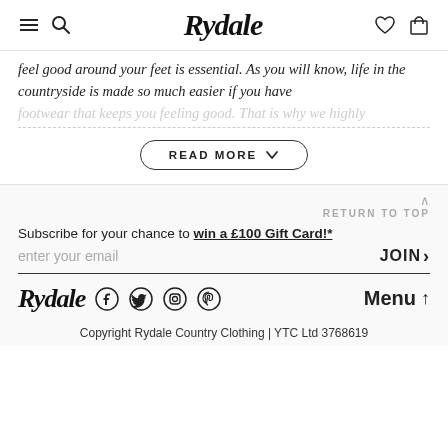Rydale
feel good around your feet is essential. As you will know, life in the countryside is made so much easier if you have footwear that keeps you feeling good. That is why we highly
READ MORE
RETURN TO TOP
Subscribe for your chance to win a £100 Gift Card!*
enter your email  JOIN >
[Figure (logo): Rydale brand logo with social media icons (Facebook, Twitter, Instagram, Pinterest) and Menu up arrow]
Copyright Rydale Country Clothing | YTC Ltd 3768619